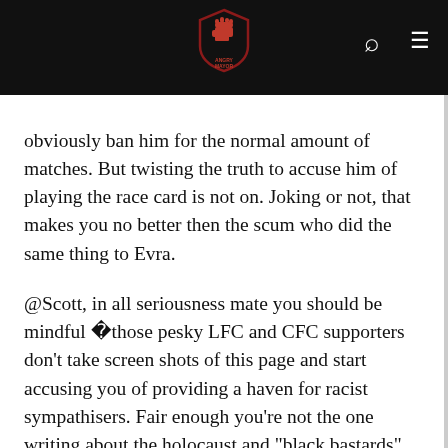[Figure (logo): Red fist logo with text on dark header bar, with search and menu icons]
obviously ban him for the normal amount of matches. But twisting the truth to accuse him of playing the race card is not on. Joking or not, that makes you no better then the scum who did the same thing to Evra.
@Scott, in all seriousness mate you should be mindful  those pesky LFC and CFC supporters don't take screen shots of this page and start accusing you of providing a haven for racist sympathisers. Fair enough you're not the one writing about the holocaust and "black bastards" on this thread, but most professional Journo's rightly named and shamed on RoM wouldn't tolerate some weird cunt telling offensive jokes/having a breakdown in their